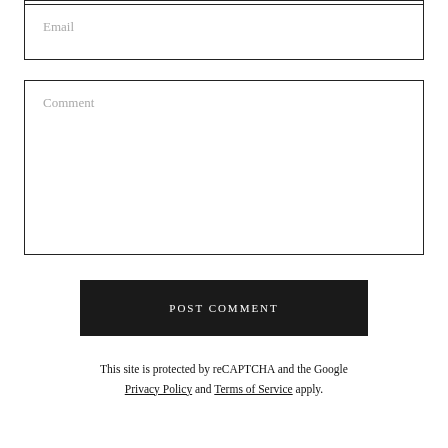Email
Comment
POST COMMENT
This site is protected by reCAPTCHA and the Google Privacy Policy and Terms of Service apply.